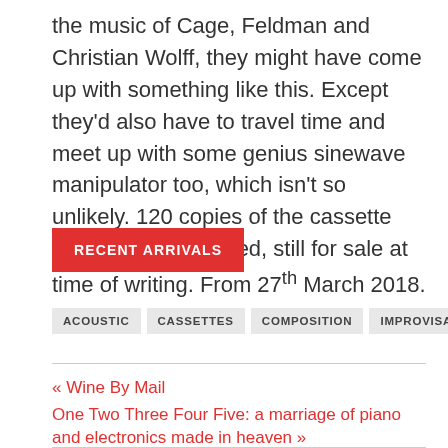the music of Cage, Feldman and Christian Wolff, they might have come up with something like this. Except they'd also have to travel time and meet up with some genius sinewave manipulator too, which isn't so unlikely. 120 copies of the cassette version were pressed, still for sale at time of writing. From 27th March 2018.
RECENT ARRIVALS
ACOUSTIC
CASSETTES
COMPOSITION
IMPROVISATION
« Wine By Mail
One Two Three Four Five: a marriage of piano and electronics made in heaven »